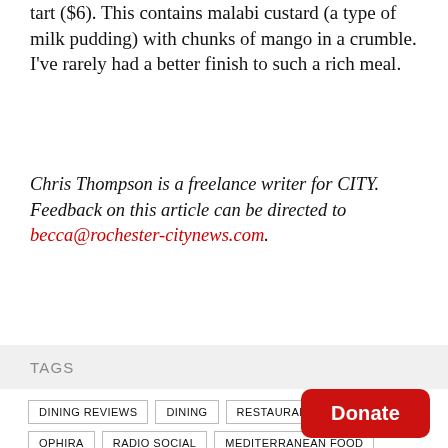tart ($6). This contains malabi custard (a type of milk pudding) with chunks of mango in a crumble. I've rarely had a better finish to such a rich meal.
Chris Thompson is a freelance writer for CITY. Feedback on this article can be directed to becca@rochester-citynews.com.
TAGS
DINING REVIEWS
DINING
RESTAURANT REVIEW
OPHIRA
RADIO SOCIAL
MEDITERRANEAN FOOD
CHRIS THOMPSON